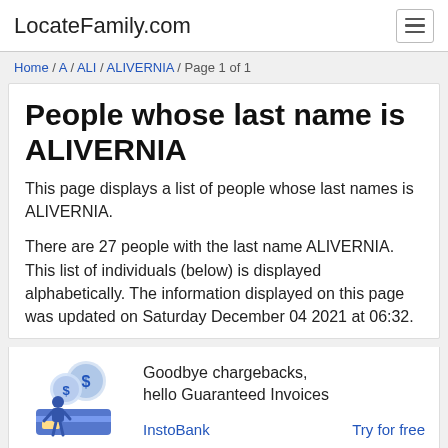LocateFamily.com
Home / A / ALI / ALIVERNIA / Page 1 of 1
People whose last name is ALIVERNIA
This page displays a list of people whose last names is ALIVERNIA.
There are 27 people with the last name ALIVERNIA. This list of individuals (below) is displayed alphabetically. The information displayed on this page was updated on Saturday December 04 2021 at 06:32.
[Figure (illustration): Advertisement illustration showing a person with dollar coins and a credit card, for InstoBank. Text: Goodbye chargebacks, hello Guaranteed Invoices. InstoBank. Try for free.]